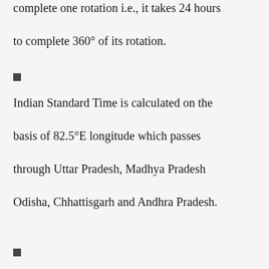complete one rotation i.e., it takes 24 hours to complete 360° of its rotation.
■
Indian Standard Time is calculated on the basis of 82.5°E longitude which passes through Uttar Pradesh, Madhya Pradesh Odisha, Chhattisgarh and Andhra Pradesh.
■